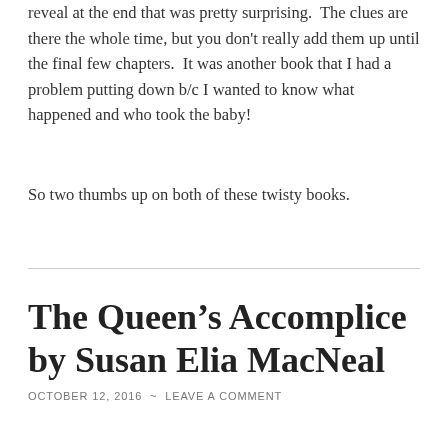reveal at the end that was pretty surprising.  The clues are there the whole time, but you don't really add them up until the final few chapters.  It was another book that I had a problem putting down b/c I wanted to know what happened and who took the baby!
So two thumbs up on both of these twisty books.
The Queen's Accomplice by Susan Elia MacNeal
OCTOBER 12, 2016  ~  LEAVE A COMMENT